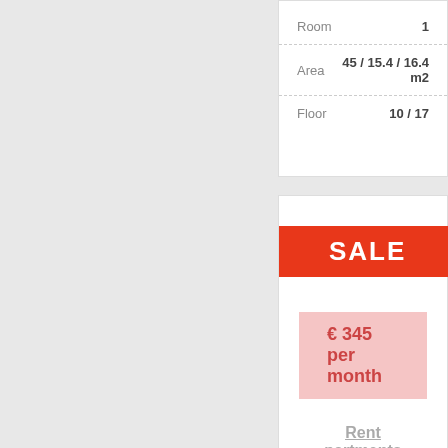| Field | Value |
| --- | --- |
| Room | 1 |
| Area | 45 / 15.4 / 16.4 m2 |
| Floor | 10 / 17 |
[Figure (other): Red SALE badge]
€ 345 per month
Rent partments Odessa Levitana/Koroliova
| Field | Value |
| --- | --- |
| Room | 1 |
| Area | 50 / 23 / 14 m2 |
| Floor | 5 / 10 |
[Figure (other): Pink SALE badge]